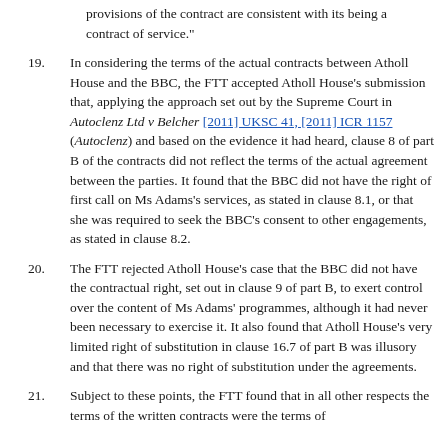provisions of the contract are consistent with its being a contract of service."
19. In considering the terms of the actual contracts between Atholl House and the BBC, the FTT accepted Atholl House's submission that, applying the approach set out by the Supreme Court in Autoclenz Ltd v Belcher [2011] UKSC 41, [2011] ICR 1157 (Autoclenz) and based on the evidence it had heard, clause 8 of part B of the contracts did not reflect the terms of the actual agreement between the parties. It found that the BBC did not have the right of first call on Ms Adams's services, as stated in clause 8.1, or that she was required to seek the BBC's consent to other engagements, as stated in clause 8.2.
20. The FTT rejected Atholl House's case that the BBC did not have the contractual right, set out in clause 9 of part B, to exert control over the content of Ms Adams' programmes, although it had never been necessary to exercise it. It also found that Atholl House's very limited right of substitution in clause 16.7 of part B was illusory and that there was no right of substitution under the agreements.
21. Subject to these points, the FTT found that in all other respects the terms of the written contracts were the terms of the actual agreement between Atholl House and the BBC.